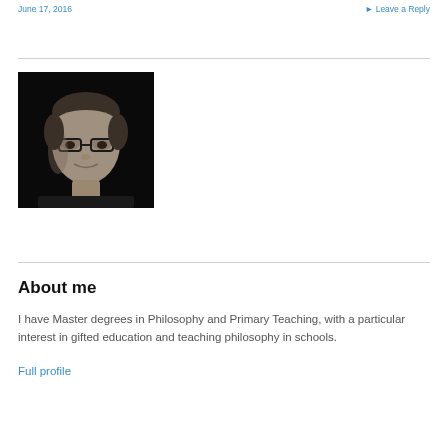June 17, 2016   ▶ Leave a Reply
[Figure (photo): Black and white portrait photo of a man wearing glasses, looking slightly to the side with a subtle smile, against a dark background.]
About me
I have Master degrees in Philosophy and Primary Teaching, with a particular interest in gifted education and teaching philosophy in schools.
Full profile